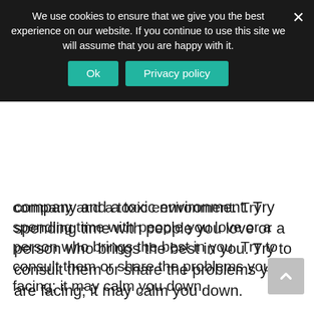We use cookies to ensure that we give you the best experience on our website. If you continue to use this site we will assume that you are happy with it.
company and a toxic environment. Try spending time with people you love or a person who brings the best in you. Try to consult them or share the problems you are facing; it may calm you down.
Conclusion
Mood swings are unavoidable but it is not impossible to control and prevent them. Try to shuffle between the measures we arranged for you in this article and find out what works best for you. Perhaps, once you